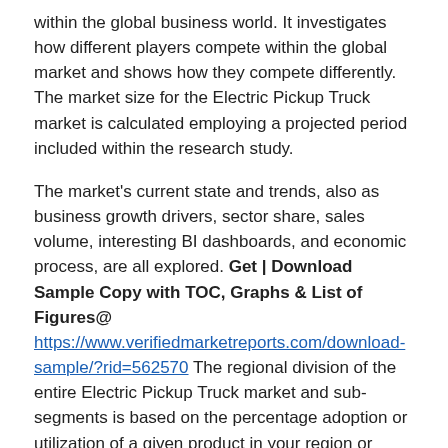within the global business world. It investigates how different players compete within the global market and shows how they compete differently. The market size for the Electric Pickup Truck market is calculated employing a projected period included within the research study.
The market's current state and trends, also as business growth drivers, sector share, sales volume, interesting BI dashboards, and economic process, are all explored. Get | Download Sample Copy with TOC, Graphs & List of Figures@ https://www.verifiedmarketreports.com/download-sample/?rid=562570 The regional division of the entire Electric Pickup Truck market and sub-segments is based on the percentage adoption or utilization of a given product in your region or country.
The main players of the market are identified through secondary research, and market revenue is determined through primary and secondary research. The primary study includes a study of the annual and financial reports of top manufacturers; in contrast, the